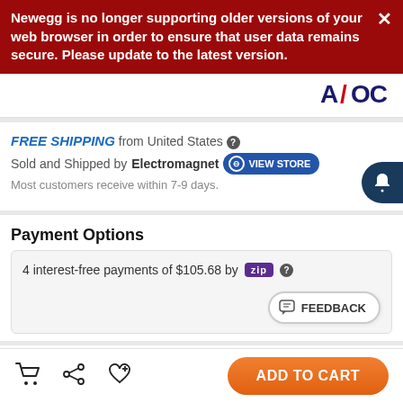Newegg is no longer supporting older versions of your web browser in order to ensure that user data remains secure. Please update to the latest version.
[Figure (logo): AOC logo in dark blue with red slash]
FREE SHIPPING from United States
Sold and Shipped by Electromagnet VIEW STORE
Most customers receive within 7-9 days.
Payment Options
4 interest-free payments of $105.68 by zip
FEEDBACK
Protection Plan: None Edit
ADD TO CART